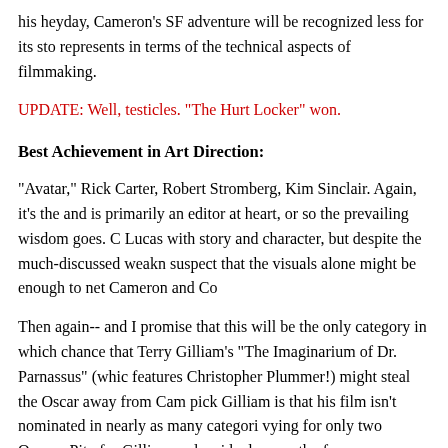his heyday, Cameron's SF adventure will be recognized less for its sto... represents in terms of the technical aspects of filmmaking.
UPDATE: Well, testicles. "The Hurt Locker" won.
Best Achievement in Art Direction:
"Avatar," Rick Carter, Robert Stromberg, Kim Sinclair. Again, it's the ... and is primarily an editor at heart, or so the prevailing wisdom goes. C... Lucas with story and character, but despite the much-discussed weakn... suspect that the visuals alone might be enough to net Cameron and Co...
Then again-- and I promise that this will be the only category in which... chance that Terry Gilliam's "The Imaginarium of Dr. Parnassus" (whic... features Christopher Plummer!) might steal the Oscar away from Cam... pick Gilliam is that his film isn't nominated in nearly as many categori... vying for only two Oscars. Pity for Gilliam and residual sympathy for